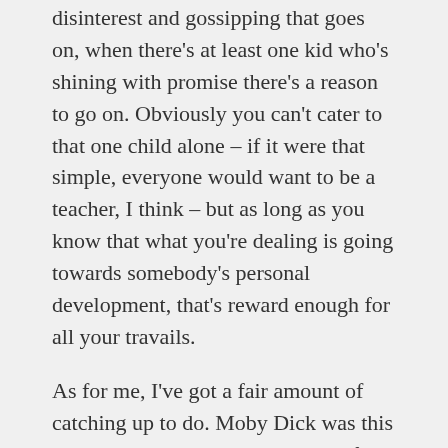disinterest and gossipping that goes on, when there's at least one kid who's shining with promise there's a reason to go on. Obviously you can't cater to that one child alone – if it were that simple, everyone would want to be a teacher, I think – but as long as you know that what you're dealing is going towards somebody's personal development, that's reward enough for all your travails.
As for me, I've got a fair amount of catching up to do. Moby Dick was this weekend's read; The Adventures of Tom Sawyer and Robinson Crusoe await, along with Allan Quatermain (after a two-month hiatus). Maybe I'll recommend King Solomon's Mines to Moby when I next get the chance. It's certainly one of my favourites. BB x